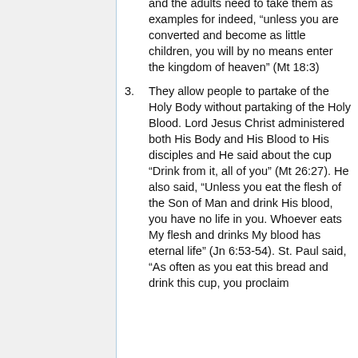and the adults need to take them as examples for indeed, “unless you are converted and become as little children, you will by no means enter the kingdom of heaven” (Mt 18:3)
3. They allow people to partake of the Holy Body without partaking of the Holy Blood. Lord Jesus Christ administered both His Body and His Blood to His disciples and He said about the cup “Drink from it, all of you” (Mt 26:27). He also said, “Unless you eat the flesh of the Son of Man and drink His blood, you have no life in you. Whoever eats My flesh and drinks My blood has eternal life” (Jn 6:53-54). St. Paul said, “As often as you eat this bread and drink this cup, you proclaim